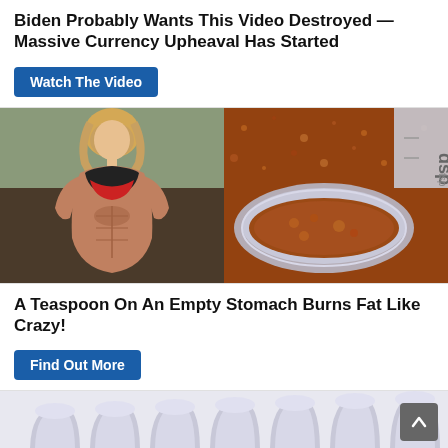Biden Probably Wants This Video Destroyed — Massive Currency Upheaval Has Started
Watch The Video
[Figure (photo): Split image: left side shows a muscular woman in athletic wear lifting her shirt to show abs in a gym; right side shows a metal measuring spoon filled with reddish-brown spice powder]
A Teaspoon On An Empty Stomach Burns Fat Like Crazy!
Find Out More
[Figure (photo): Partial image of several silver/metallic dental crowns or teeth at the bottom of the page]